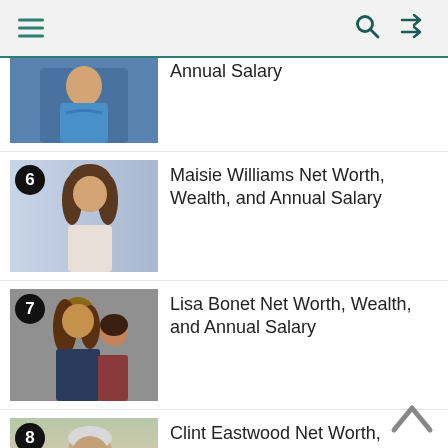Navigation bar with menu, search, and shuffle icons
Annual Salary (item 5, partially visible)
6. Maisie Williams Net Worth, Wealth, and Annual Salary
7. Lisa Bonet Net Worth, Wealth, and Annual Salary
8. Clint Eastwood Net Worth, Wealth, and Annual Salary